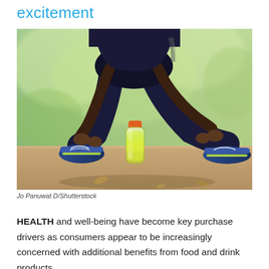excitement
[Figure (photo): A person in athletic wear crouching down to tie their shoelace on a path, with a yellow sports drink bottle placed nearby on the ground. Blurred green outdoor background.]
Jo Panuwat D/Shutterstock
HEALTH and well-being have become key purchase drivers as consumers appear to be increasingly concerned with additional benefits from food and drink products.